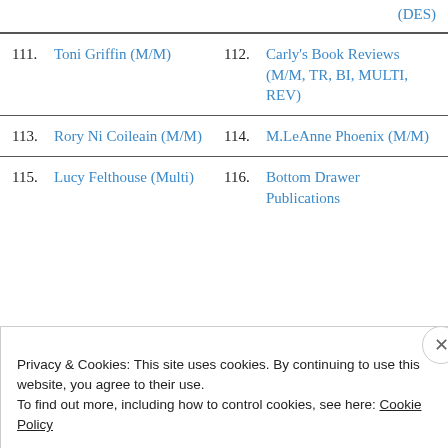(DES)
111. Toni Griffin (M/M)
112. Carly's Book Reviews (M/M, TR, BI, MULTI, REV)
113. Rory Ni Coileain (M/M)
114. M.LeAnne Phoenix (M/M)
115. Lucy Felthouse (Multi)
116. Bottom Drawer Publications
Privacy & Cookies: This site uses cookies. By continuing to use this website, you agree to their use.
To find out more, including how to control cookies, see here: Cookie Policy
Close and accept